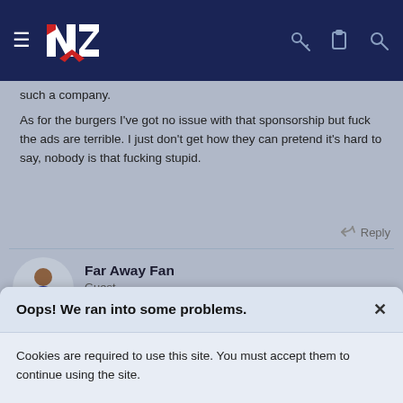NZ Warriors forum navigation bar
such a company.
As for the burgers I've got no issue with that sponsorship but fuck the ads are terrible. I just don't get how they can pretend it's hard to say, nobody is that fucking stupid.
Reply
Far Away Fan
Guest
Sep 21, 2014
#38
Oops! We ran into some problems.
Cookies are required to use this site. You must accept them to continue using the site.